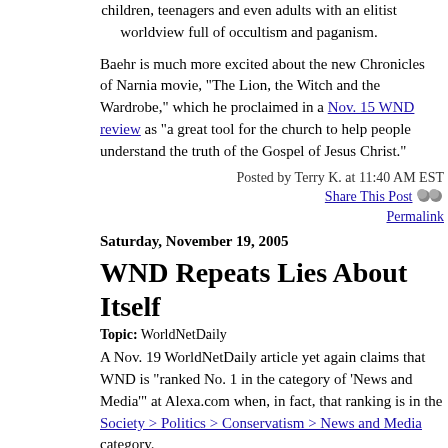children, teenagers and even adults with an elitist worldview full of occultism and paganism.
Baehr is much more excited about the new Chronicles of Narnia movie, "The Lion, the Witch and the Wardrobe," which he proclaimed in a Nov. 15 WND review as "a great tool for the church to help people understand the truth of the Gospel of Jesus Christ."
Posted by Terry K. at 11:40 AM EST
Share This Post
Permalink
Saturday, November 19, 2005
WND Repeats Lies About Itself
Topic: WorldNetDaily
A Nov. 19 WorldNetDaily article yet again claims that WND is "ranked No. 1 in the category of 'News and Media'" at Alexa.com when, in fact, that ranking is in the Society > Politics > Conservatism > News and Media category.
In addition to rehashing other dubious claims about WND's ranking on Alexa and Ranking.com -- which, as we've noted, are counting systems based on browser toolbars and link exchanges and are not necessarily reflective of actual traffic counts -- the article also includes the